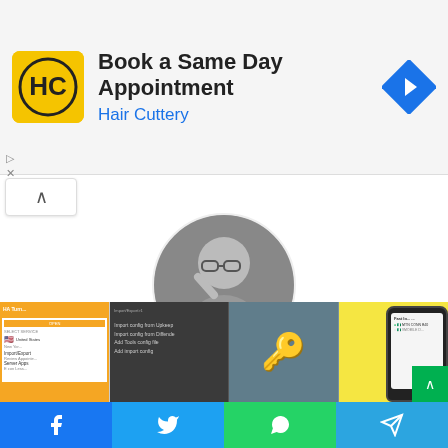[Figure (screenshot): Hair Cuttery advertisement banner with yellow HC logo, text 'Book a Same Day Appointment' and subtitle 'Hair Cuttery', with blue navigation arrow icon on right]
[Figure (photo): Circular grayscale profile photo of a person wearing glasses]
Umar Maigamba
Umar Muhammad sani (Umar Maigamba)
[Figure (screenshot): Bottom strip of four app screenshots in orange, dark, blue-gray, and yellow themes]
[Figure (screenshot): Social media sharing bar with Facebook, Twitter, WhatsApp, and Telegram buttons]